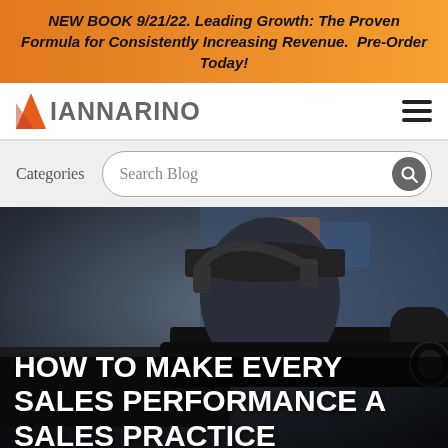NEW BOOK 9/21/22. Leading Growth: The Proven Formula for Consistently Increasing Revenue. Pre-Order Today!
[Figure (logo): Iannarino logo with orange triangle and grey text IANNARINO]
[Figure (screenshot): Website navigation bar with Categories label and Search Blog input field with search icon button]
[Figure (photo): Person operating a professional video camera at a sporting event, crowd visible in background, dark and blurred environment]
HOW TO MAKE EVERY SALES PERFORMANCE A SALES PRACTICE